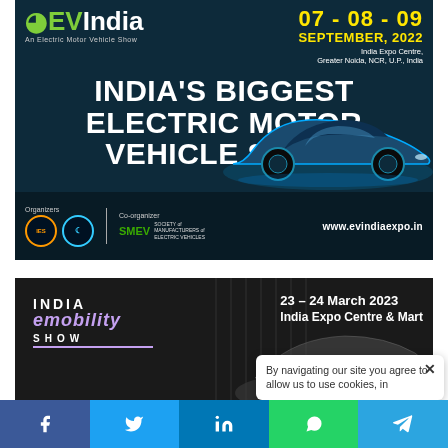[Figure (illustration): EV India expo advertisement banner showing date 07-08-09 September 2022, India Expo Centre Greater Noida, headline INDIA'S BIGGEST ELECTRIC MOTOR VEHICLE SHOW, organizer logos (IES, SMEV), and website www.evindiaexpo.in]
[Figure (illustration): India eMobility Show advertisement banner showing 23-24 March 2023, India Expo Centre & Mart, dark background with crowd and car imagery]
By navigating our site you agree to allow us to use cookies, in
[Figure (infographic): Social sharing bar with Facebook, Twitter, LinkedIn, WhatsApp, and Telegram icons]